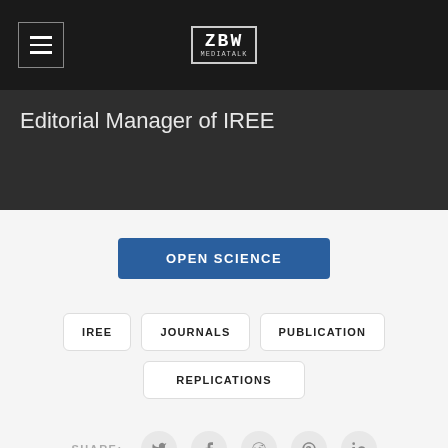[Figure (logo): ZBW logo in top navigation bar with hamburger menu icon on the left]
Editorial Manager of IREE
OPEN SCIENCE
IREE
JOURNALS
PUBLICATION
REPLICATIONS
SHARE: